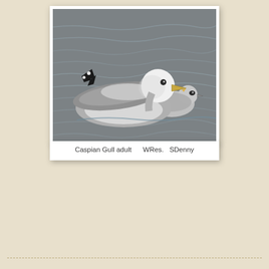[Figure (photo): Black and white photograph of a Caspian Gull adult swimming on water, with another gull partially visible behind it. The bird has a white head, grey wings with black wingtip markings, and a yellow-orange bill.]
Caspian Gull adult    WRes.   SDenny